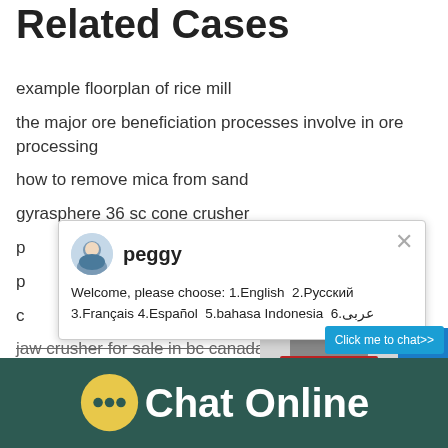Related Cases
example floorplan of rice mill
the major ore beneficiation processes involve in ore processing
how to remove mica from sand
gyrasphere 36 sc cone crusher
p
p
c
jaw crusher for sale in bc canada
mining of gold exploration process
mobile limestone cone crusher suppliers nige
manufacturing and machinery in kerala
coarse jaw crushing iron ore
[Figure (screenshot): Chat popup with agent 'peggy' offering language selection: Welcome, please choose: 1.English 2.Русский 3.Français 4.Español 5.bahasa Indonesia 6.عربى]
[Figure (photo): Industrial cone crusher machine on the right side of the page]
Chat Online